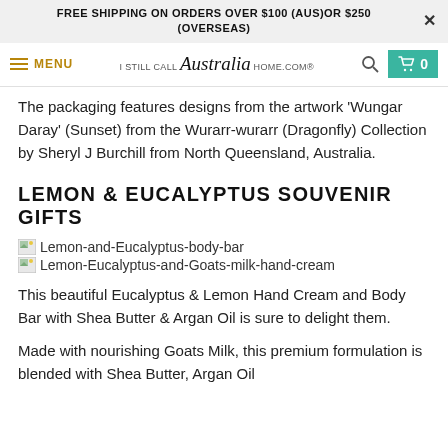FREE SHIPPING ON ORDERS OVER $100 (AUS)OR $250 (OVERSEAS)
[Figure (screenshot): Website navigation bar with menu icon, MENU text, 'I STILL CALL Australia HOME.COM®' logo, search icon, and cart button showing 0 items]
The packaging features designs from the artwork 'Wungar Daray' (Sunset) from the Wurarr-wurarr (Dragonfly) Collection by Sheryl J Burchill from North Queensland, Australia.
LEMON & EUCALYPTUS SOUVENIR GIFTS
[Figure (photo): Broken image placeholder for Lemon-and-Eucalyptus-body-bar]
[Figure (photo): Broken image placeholder for Lemon-Eucalyptus-and-Goats-milk-hand-cream]
This beautiful Eucalyptus & Lemon Hand Cream and Body Bar with Shea Butter & Argan Oil is sure to delight them.
Made with nourishing Goats Milk, this premium formulation is blended with Shea Butter, Argan Oil...